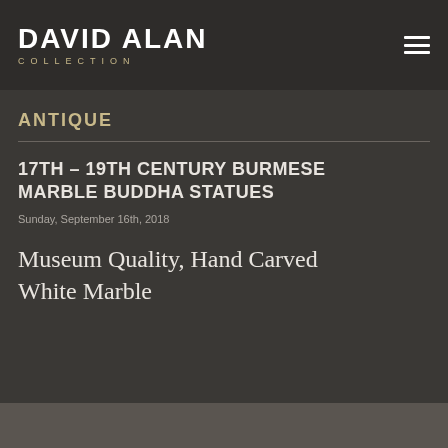DAVID ALAN COLLECTION
ANTIQUE
17TH – 19TH CENTURY BURMESE MARBLE BUDDHA STATUES
Sunday, September 16th, 2018
Museum Quality, Hand Carved White Marble
[Figure (photo): Bottom strip showing image preview of Burmese marble Buddha statues]